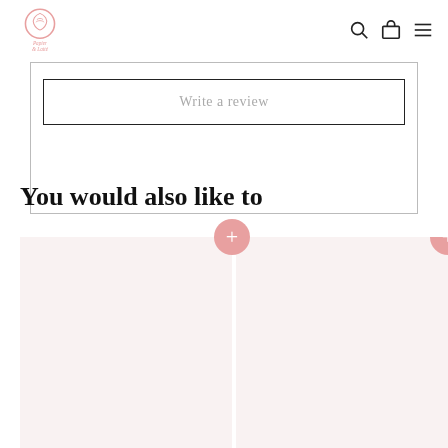Papier & Latté — navigation header with logo, search, cart, and menu icons
Write a review
You would also like to
[Figure (photo): Product card 1 — light pink/beige background product thumbnail with pink circular add-to-cart button]
[Figure (photo): Product card 2 — light pink/beige background product thumbnail with pink circular add-to-cart button]